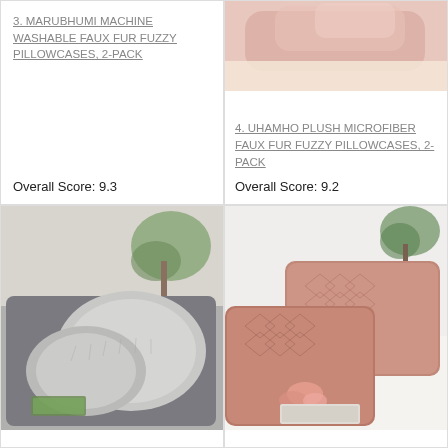3. MARUBHUMI MACHINE WASHABLE FAUX FUR FUZZY PILLOWCASES, 2-PACK

Overall Score: 9.3
[Figure (photo): Pink fluffy faux fur pillowcases on a bed]
4. UHAMHO PLUSH MICROFIBER FAUX FUR FUZZY PILLOWCASES, 2-PACK

Overall Score: 9.2
[Figure (photo): Gray fluffy faux fur pillows on a dark gray tufted chair with a book and plant in background]
[Figure (photo): Two pink textured faux fur pillows on a white bed with a flower and magazine, plant in background]